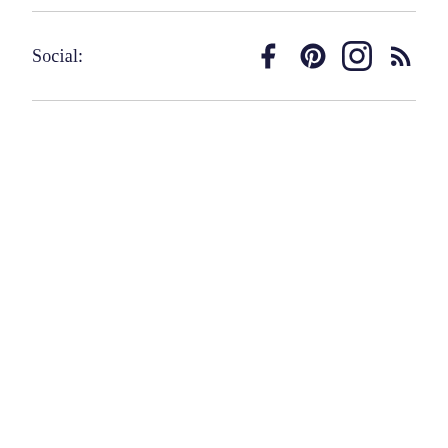Social:  [Facebook icon] [Pinterest icon] [Instagram icon] [RSS icon]